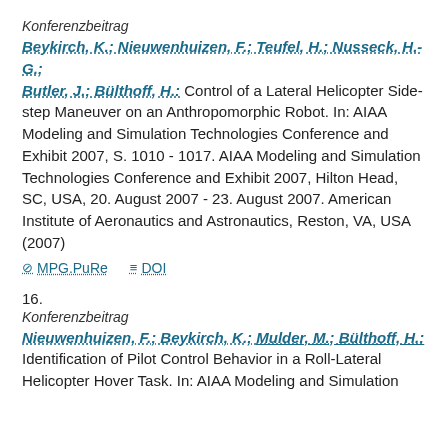Konferenzbeitrag
Beykirch, K.; Nieuwenhuizen, F.; Teufel, H.; Nusseck, H.-G.; Butler, J.; Bülthoff, H.: Control of a Lateral Helicopter Sidestep Maneuver on an Anthropomorphic Robot. In: AIAA Modeling and Simulation Technologies Conference and Exhibit 2007, S. 1010 - 1017. AIAA Modeling and Simulation Technologies Conference and Exhibit 2007, Hilton Head, SC, USA, 20. August 2007 - 23. August 2007. American Institute of Aeronautics and Astronautics, Reston, VA, USA (2007)
MPG.PuRe   DOI
16.
Konferenzbeitrag
Nieuwenhuizen, F.; Beykirch, K.; Mulder, M.; Bülthoff, H.: Identification of Pilot Control Behavior in a Roll-Lateral Helicopter Hover Task. In: AIAA Modeling and Simulation